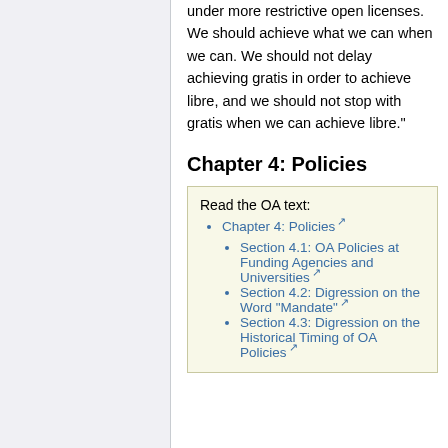under more restrictive open licenses. We should achieve what we can when we can. We should not delay achieving gratis in order to achieve libre, and we should not stop with gratis when we can achieve libre."
Chapter 4: Policies
Read the OA text:
Chapter 4: Policies
Section 4.1: OA Policies at Funding Agencies and Universities
Section 4.2: Digression on the Word "Mandate"
Section 4.3: Digression on the Historical Timing of OA Policies